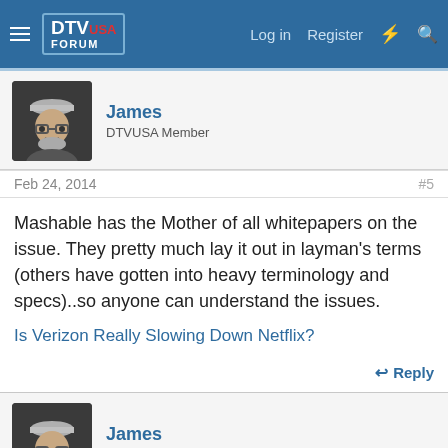DTV USA FORUM — Log in  Register
James
DTVUSA Member
Feb 24, 2014
#5
Mashable has the Mother of all whitepapers on the issue. They pretty much lay it out in layman's terms (others have gotten into heavy terminology and specs)..so anyone can understand the issues.
Is Verizon Really Slowing Down Netflix?
↩ Reply
James
DTVUSA Member
Feb 24, 2014
#6